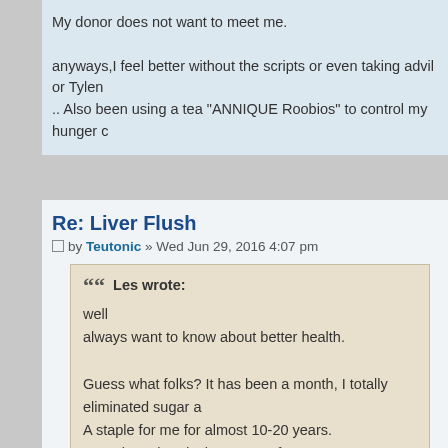My donor does not want to meet me.

anyways,I feel better without the scripts or even taking advil or Tylen.. Also been using a tea "ANNIQUE Roobios" to control my hunger c
Re: Liver Flush
by Teutonic » Wed Jun 29, 2016 4:07 pm
Les wrote:
well
always want to know about better health.

Guess what folks? It has been a month, I totally eliminated sugar a
A staple for me for almost 10-20 years.
I now have headaches more often
I've done the same, mostly out of my frustration with the medical com figure out whether it's good or bad for you.

My sleep is definately better, I can say that.
Duty, Honour, Sacrifice.